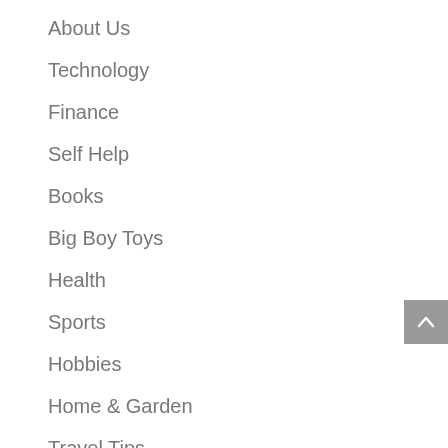About Us
Technology
Finance
Self Help
Books
Big Boy Toys
Health
Sports
Hobbies
Home & Garden
Travel Tips